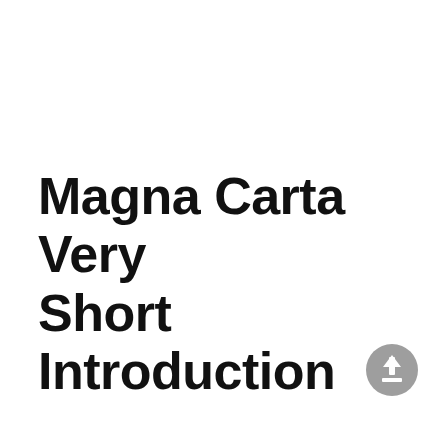Magna Carta Very Short Introduction
[Figure (illustration): A circular grey icon with an upward-pointing arrow inside, positioned at the bottom-right near the title text.]